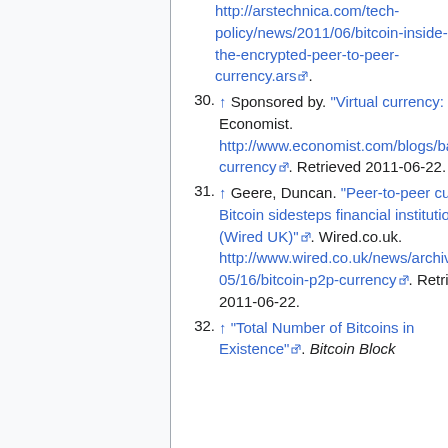30. ↑ Sponsored by. "Virtual currency: Bits and bob". The Economist. http://www.economist.com/blogs/babbage/2011/06/virtual-currency. Retrieved 2011-06-22.
31. ↑ Geere, Duncan. "Peer-to-peer currency Bitcoin sidesteps financial institutions (Wired UK)". Wired.co.uk. http://www.wired.co.uk/news/archive/2011-05/16/bitcoin-p2p-currency. Retrieved 2011-06-22.
32. ↑ "Total Number of Bitcoins in Existence". Bitcoin Block